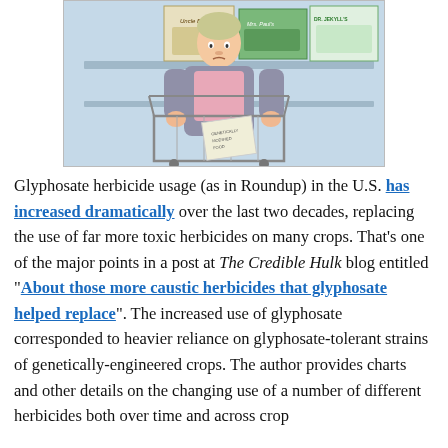[Figure (illustration): A cartoon illustration of a woman with a shopping cart in a grocery store, looking at food product boxes on shelves. Visible brand labels include 'Uncle Ben's', 'Mrs. Paul's', and 'DR. JEKYLL'S'. She appears concerned or confused.]
Glyphosate herbicide usage (as in Roundup) in the U.S. has increased dramatically over the last two decades, replacing the use of far more toxic herbicides on many crops. That's one of the major points in a post at The Credible Hulk blog entitled "About those more caustic herbicides that glyphosate helped replace". The increased use of glyphosate corresponded to heavier reliance on glyphosate-tolerant strains of genetically-engineered crops. The author provides charts and other details on the changing use of a number of different herbicides both over time and across crop